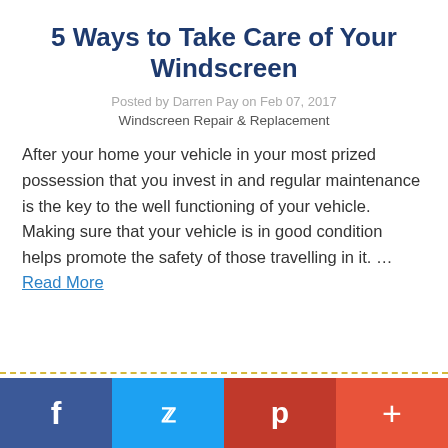5 Ways to Take Care of Your Windscreen
Posted by Darren Pay on Feb 07, 2017
Windscreen Repair & Replacement
After your home your vehicle in your most prized possession that you invest in and regular maintenance is the key to the well functioning of your vehicle. Making sure that your vehicle is in good condition helps promote the safety of those travelling in it. … Read More